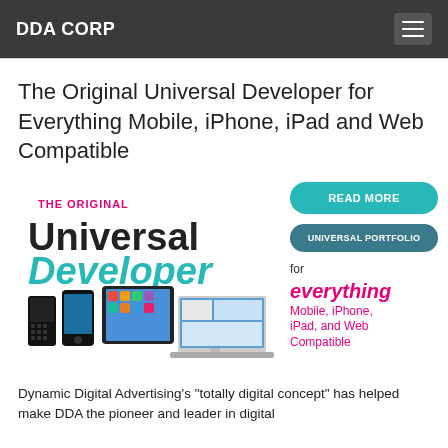DDA CORP
The Original Universal Developer for Everything Mobile, iPhone, iPad and Web Compatible
[Figure (infographic): Banner image showing 'THE ORIGINAL Universal Developer' text with devices including BlackBerry, iPhone, iPad, and MacBook laptop. Right side shows buttons 'READ MORE' and 'UNIVERSAL PORTFOLIO', and text 'for everything Mobile, iPhone, iPad, and Web Compatible' in pink.]
Dynamic Digital Advertising's "totally digital concept" has helped make DDA the pioneer and leader in digital